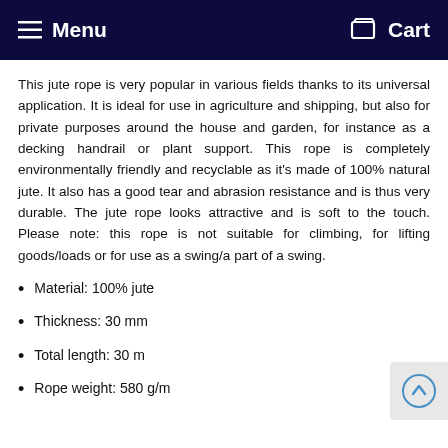≡ Menu   🛒 Cart
This jute rope is very popular in various fields thanks to its universal application. It is ideal for use in agriculture and shipping, but also for private purposes around the house and garden, for instance as a decking handrail or plant support. This rope is completely environmentally friendly and recyclable as it's made of 100% natural jute. It also has a good tear and abrasion resistance and is thus very durable. The jute rope looks attractive and is soft to the touch. Please note: this rope is not suitable for climbing, for lifting goods/loads or for use as a swing/a part of a swing.
Material: 100% jute
Thickness: 30 mm
Total length: 30 m
Rope weight: 580 g/m